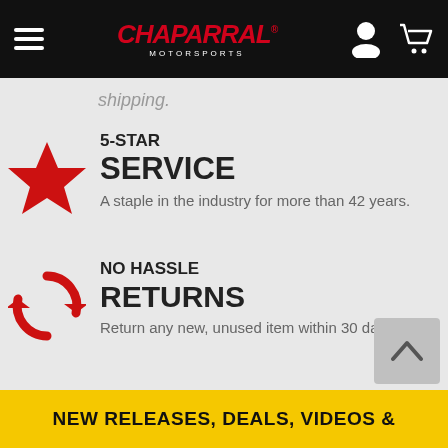Chaparal Motorsports
shipping.
5-STAR SERVICE
A staple in the industry for more than 42 years.
[Figure (illustration): Red star icon]
NO HASSLE RETURNS
Return any new, unused item within 30 days.
[Figure (illustration): Red circular arrows / refresh icon]
NEW RELEASES, DEALS, VIDEOS &